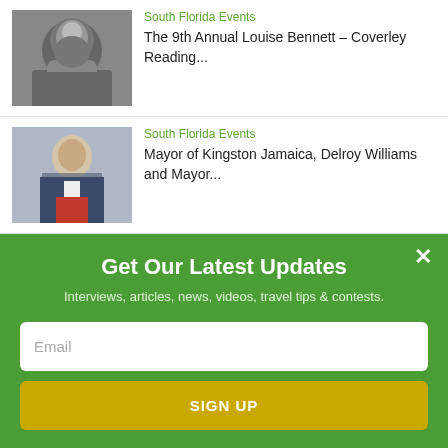[Figure (photo): Black and white portrait photo of a man smiling]
South Florida Events
The 9th Annual Louise Bennett – Coverley Reading...
[Figure (photo): Color portrait photo of a man in a suit with a red tie, smiling]
South Florida Events
Mayor of Kingston Jamaica, Delroy Williams and Mayor...
ALSO ON JAMAICANS.COM
[Figure (screenshot): Two thumbnail images: one black, one teal/blue]
Get Our Latest Updates
Interviews, articles, news, videos, travel tips & contests.
Email
SIGN UP